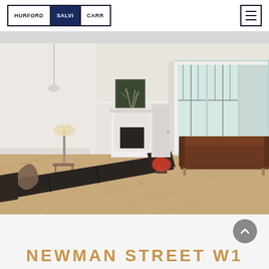Hurford Salvi Carr
[Figure (photo): Interior living room of a period property with herringbone parquet floors, white walls, a marble fireplace, leaded bay windows, and dark leather sofas.]
NEWMAN STREET W1